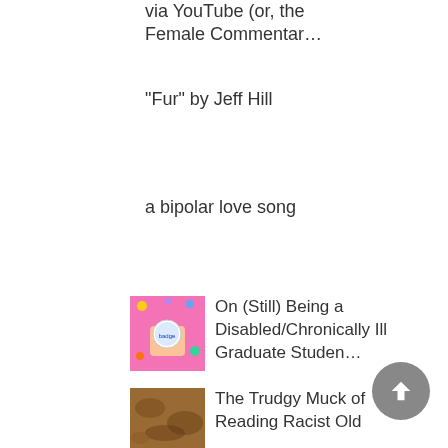via YouTube (or, the Female Commentar…
"Fur" by Jeff Hill
a bipolar love song
[Figure (photo): Thumbnail image showing a hand holding a colorful button/badge on a pink and colorful background]
On (Still) Being a Disabled/Chronically Ill Graduate Studen…
[Figure (photo): Thumbnail image showing a muddy or earthy texture in brown tones]
The Trudgy Muck of Reading Racist Old